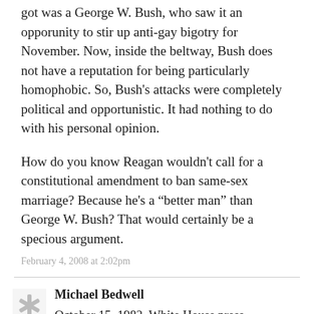got was a George W. Bush, who saw it an opporunity to stir up anti-gay bigotry for November. Now, inside the beltway, Bush does not have a reputation for being particularly homophobic. So, Bush's attacks were completely political and opportunistic. It had nothing to do with his personal opinion.
How do you know Reagan wouldn't call for a constitutional amendment to ban same-sex marriage? Because he's a “better man” than George W. Bush? That would certainly be a specious argument.
February 4, 2008 at 2:02pm
Michael Bedwell
October 15, 1982. White House press conference with Reagan spokesman, Larry Speakes”
Q: Larry, does the President have any reaction to the announcement [from] the Centers for Disease Control...